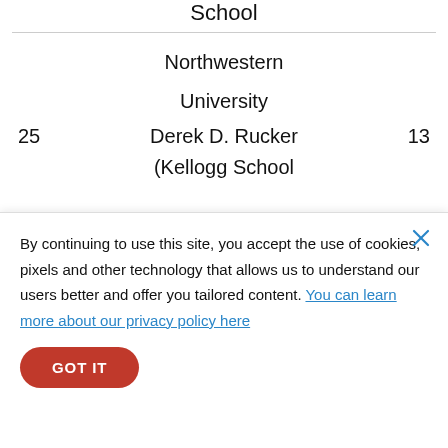School
Northwestern
University
25    Derek D. Rucker    13
(Kellogg School
By continuing to use this site, you accept the use of cookies, pixels and other technology that allows us to understand our users better and offer you tailored content. You can learn more about our privacy policy here
GOT IT